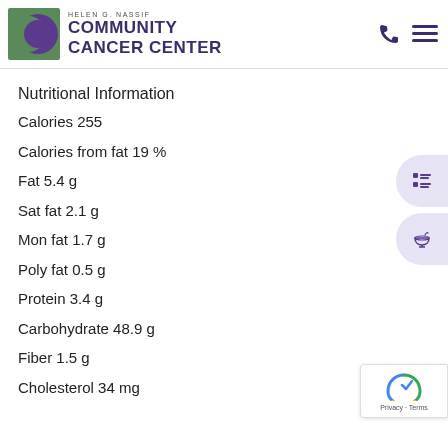Helen G. Nassif Community Cancer Center
Nutritional Information
Calories 255
Calories from fat 19 %
Fat 5.4 g
Sat fat 2.1 g
Mon fat 1.7 g
Poly fat 0.5 g
Protein 3.4 g
Carbohydrate 48.9 g
Fiber 1.5 g
Cholesterol 34 mg